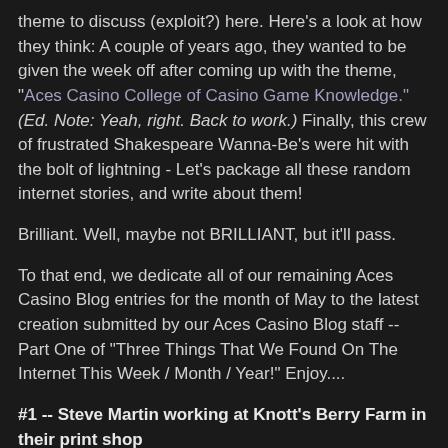theme to discuss (exploit?) here. Here's a look at how they think: A couple of years ago, they wanted to be given the week off after coming up with the theme, "Aces Casino College of Casino Game Knowledge."  (Ed. Note: Yeah, right.  Back to work.)  Finally, this crew of frustrated Shakespeare Wanna-Be's were hit with the bolt of lightning - Let's package all these random internet stories, and write about them!
Brilliant.  Well, maybe not BRILLIANT, but it'll pass.
To that end, we dedicate all of our remaining Aces Casino Blog entries for the month of May to the latest creation submitted by our Aces Casino Blog staff -- Part One of "Three Things That We Found On The Internet This Week / Month / Year!"  Enjoy....
#1 -- Steve Martin working at Knott's Berry Farm in their print shop
Yes, yes, we know that one of America's favorite comedians did quite a stint at the Berry Farm's "Bird Cage Theater" as